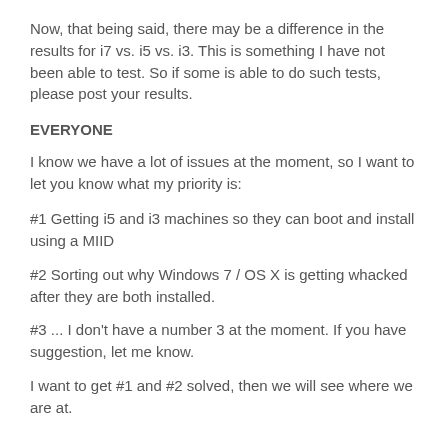Now, that being said, there may be a difference in the results for i7 vs. i5 vs. i3. This is something I have not been able to test. So if some is able to do such tests, please post your results.
EVERYONE
I know we have a lot of issues at the moment, so I want to let you know what my priority is:
#1 Getting i5 and i3 machines so they can boot and install using a MIID
#2 Sorting out why Windows 7 / OS X is getting whacked after they are both installed.
#3 ... I don't have a number 3 at the moment. If you have suggestion, let me know.
I want to get #1 and #2 solved, then we will see where we are at.